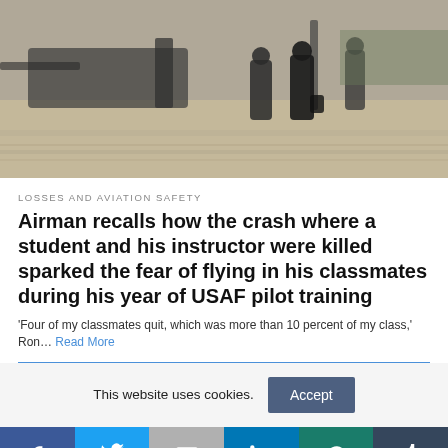[Figure (photo): Military pilots in flight suits walking on an airfield tarmac with jet aircraft in the background]
LOSSES AND AVIATION SAFETY
Airman recalls how the crash where a student and his instructor were killed sparked the fear of flying in his classmates during his year of USAF pilot training
'Four of my classmates quit, which was more than 10 percent of my class,' Ron… Read More
This website uses cookies.  Accept
[Figure (infographic): Social media sharing bar with icons for Facebook, Twitter, Gmail, LinkedIn, WhatsApp, and Tumblr]